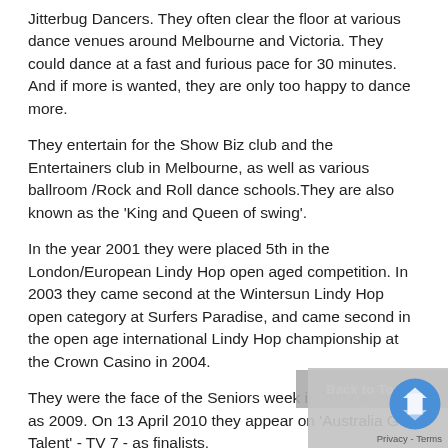Jitterbug Dancers. They often clear the floor at various dance venues around Melbourne and Victoria. They could dance at a fast and furious pace for 30 minutes. And if more is wanted, they are only too happy to dance more.
They entertain for the Show Biz club and the Entertainers club in Melbourne, as well as various ballroom /Rock and Roll dance schools.They are also known as the 'King and Queen of swing'.
In the year 2001 they were placed 5th in the London/European Lindy Hop open aged competition. In 2003 they came second at the Wintersun Lindy Hop open category at Surfers Paradise, and came second in the open age international Lindy Hop championship at the Crown Casino in 2004.
They were the face of the Seniors week in 2007 as well as 2009. On 13 April 2010 they appear on 'Australia Got Talent' - TV 7 - as finalists.
TESTIMONIALS
Margaret and Ron took over the dance floor. Both we dressed in black and white outfits and really burned up the floor.